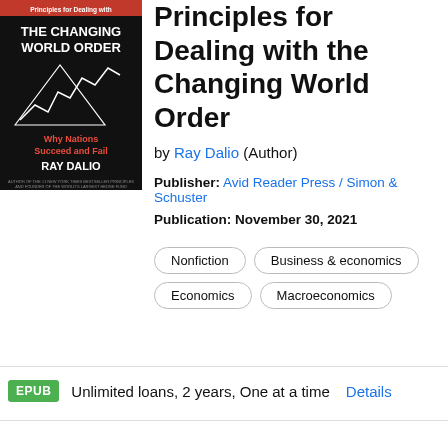[Figure (illustration): Book cover for 'Principles for Dealing with the Changing World Order' by Ray Dalio. Black background with the title in white and red text, a white line chart graphic, subtitle 'Why Nations Succeed and Fail', and author name at the bottom.]
Principles for Dealing with the Changing World Order
by Ray Dalio (Author)
Publisher: Avid Reader Press / Simon & Schuster
Publication: November 30, 2021
Nonfiction
Business & economics
Economics
Macroeconomics
EPUB  Unlimited loans, 2 years, One at a time  Details